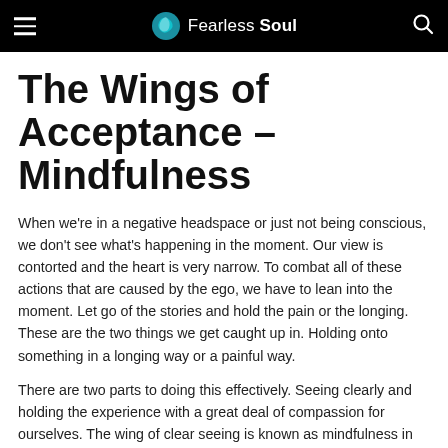Fearless Soul
The Wings of Acceptance – Mindfulness
When we're in a negative headspace or just not being conscious, we don't see what's happening in the moment. Our view is contorted and the heart is very narrow. To combat all of these actions that are caused by the ego, we have to lean into the moment. Let go of the stories and hold the pain or the longing. These are the two things we get caught up in. Holding onto something in a longing way or a painful way.
There are two parts to doing this effectively. Seeing clearly and holding the experience with a great deal of compassion for ourselves. The wing of clear seeing is known as mindfulness in